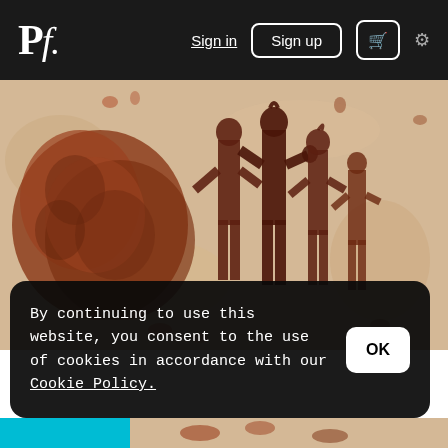Pf. | Sign in | Sign up | [cart] | [settings]
[Figure (photo): Cave painting / rock art showing silhouettes of human figures with raised arms and a large reddish-brown organic shape on the left, on a sandy beige rock surface.]
By continuing to use this website, you consent to the use of cookies in accordance with our Cookie Policy.
[Figure (photo): Partial view of another cave painting at the bottom of the page.]